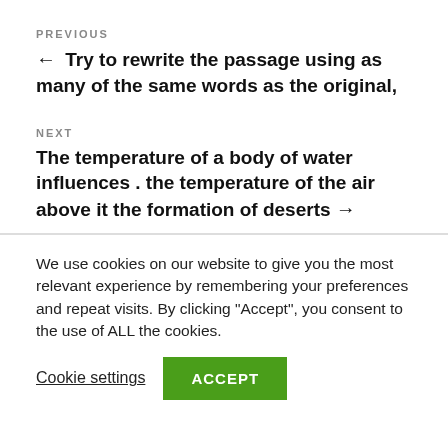PREVIOUS
← Try to rewrite the passage using as many of the same words as the original,
NEXT
The temperature of a body of water influences . the temperature of the air above it the formation of deserts →
We use cookies on our website to give you the most relevant experience by remembering your preferences and repeat visits. By clicking "Accept", you consent to the use of ALL the cookies.
Cookie settings
ACCEPT